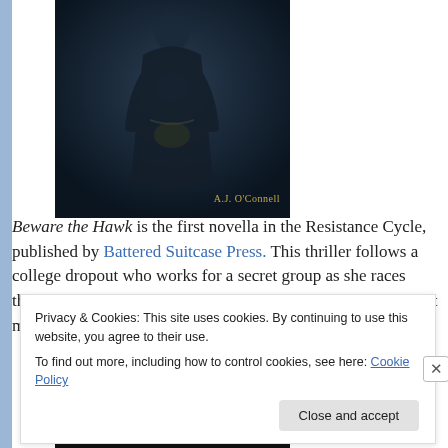[Figure (photo): Book cover for 'Beware the Hawk' by A.J. O'Connell. Dark image showing a figure in dark clothing with the author name in gold text at the bottom right.]
Beware the Hawk is the first novella in the Resistance Cycle, published by Battered Suitcase Press. This thriller follows a college dropout who works for a secret group as she races through the streets of Boston to complete what may be her last mission.
[Figure (photo): Partial view of a second book cover, mostly obscured by cookie banner.]
Privacy & Cookies: This site uses cookies. By continuing to use this website, you agree to their use.
To find out more, including how to control cookies, see here: Cookie Policy
Close and accept